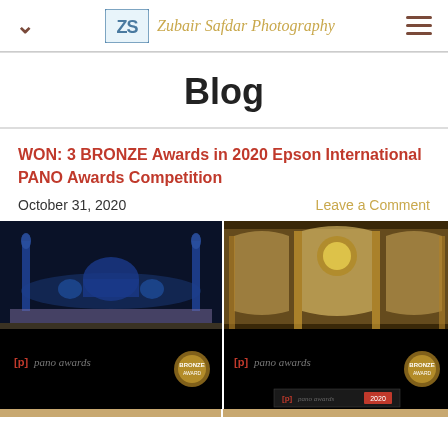Zubair Safdar Photography
Blog
WON: 3 BRONZE Awards in 2020 Epson International PANO Awards Competition
October 31, 2020    Leave a Comment
[Figure (photo): Two panoramic award-winning mosque photographs side by side: left shows Sheikh Zayed Grand Mosque at night with blue lighting; right shows ornate mosque interior with golden arches. Both have Pano Awards bronze badges and logos at the bottom.]